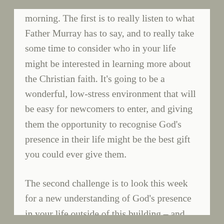morning. The first is to really listen to what Father Murray has to say, and to really take some time to consider who in your life might be interested in learning more about the Christian faith. It's going to be a wonderful, low-stress environment that will be easy for newcomers to enter, and giving them the opportunity to recognise God's presence in their life might be the best gift you could ever give them.
The second challenge is to look this week for a new understanding of God's presence in your life outside of this building – and even more, to dare to ask God for an awareness of his presence. Dare to ask to see his glory! Remember: this can be a dangerous prayer! But it might also just take you on a journey to